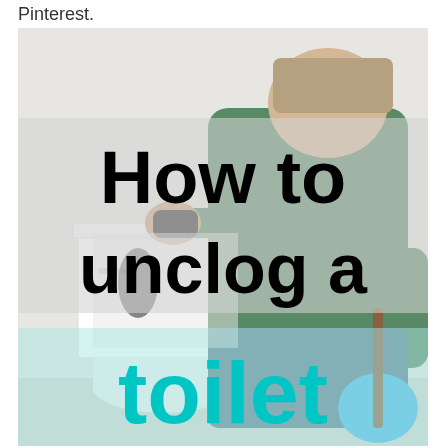Pinterest.
[Figure (photo): A person wearing a green shirt and khaki hat kneeling next to a white toilet tank, appearing to work on it. A blue plunger is visible on the right side. The image has overlaid text reading 'How to unclog a toilet' in black and teal/cyan bold lettering with a semi-transparent white/gray background behind the black text.]
How to unclog a toilet